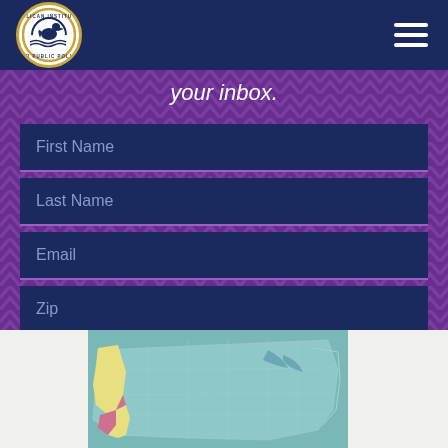Pelican Institute for Public Policy - navigation header
your inbox.
First Name
Last Name
Email
Zip
SUBMIT
[Figure (map): Map of the United States showing regional divisions, with western states highlighted in yellow and a southern coastal region in pink/red, against a teal/green background.]